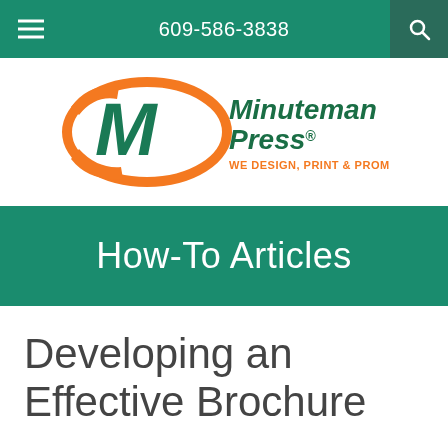609-586-3838
[Figure (logo): Minuteman Press logo with orange swoosh M and green text reading 'Minuteman Press. WE DESIGN, PRINT & PROMOTE...YOU!']
How-To Articles
Developing an Effective Brochure